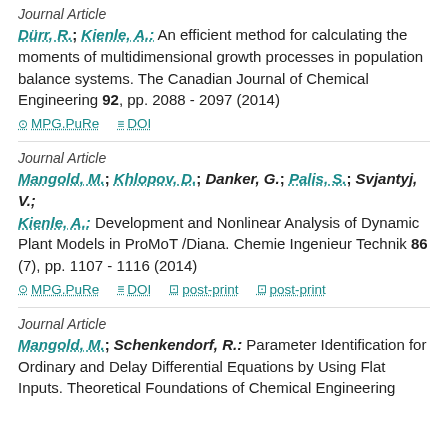Journal Article
Dürr, R.; Kienle, A.: An efficient method for calculating the moments of multidimensional growth processes in population balance systems. The Canadian Journal of Chemical Engineering 92, pp. 2088 - 2097 (2014)
MPG.PuRe   DOI
Journal Article
Mangold, M.; Khlopov, D.; Danker, G.; Palis, S.; Svjantyj, V.; Kienle, A.: Development and Nonlinear Analysis of Dynamic Plant Models in ProMoT /Diana. Chemie Ingenieur Technik 86 (7), pp. 1107 - 1116 (2014)
MPG.PuRe   DOI   post-print   post-print
Journal Article
Mangold, M.; Schenkendorf, R.: Parameter Identification for Ordinary and Delay Differential Equations by Using Flat Inputs. Theoretical Foundations of Chemical Engineering